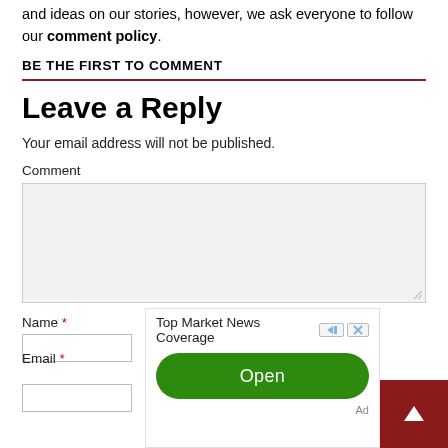and ideas on our stories, however, we ask everyone to follow our comment policy.
BE THE FIRST TO COMMENT
Leave a Reply
Your email address will not be published.
Comment
[Figure (screenshot): Empty comment textarea input box with gray background and resize handle]
Name *
[Figure (screenshot): Ad overlay showing 'Top Market News Coverage' with an Open button and Ad label. Includes ad controls (forward/close icons). A dark red back-to-top arrow button appears in the bottom right.]
Email *